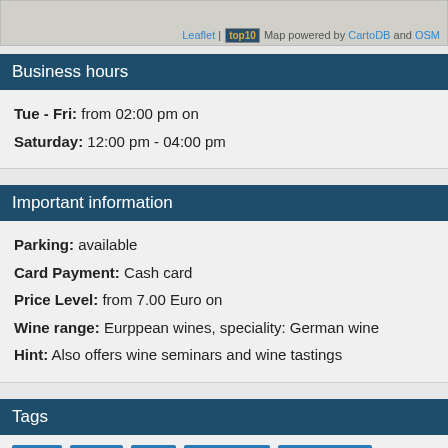[Figure (map): Map screenshot with Leaflet attribution, top10 badge, CartoDB and OSM credits]
Business hours
Tue - Fri: from 02:00 pm on
Saturday: 12:00 pm - 04:00 pm
Important information
Parking: available
Card Payment: Cash card
Price Level: from 7.00 Euro on
Wine range: Eurppean wines, speciality: German wine
Hint: Also offers wine seminars and wine tastings
Tags
berlin
drinks
wine
wine school
wine seminar
Comments